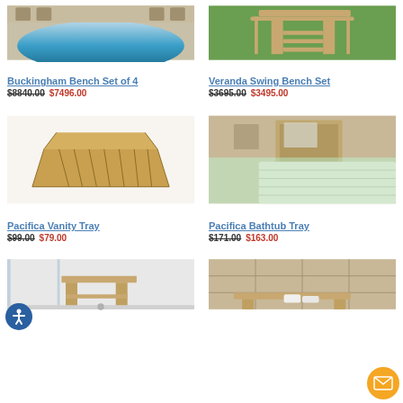[Figure (photo): Pool area with teak furniture - Buckingham Bench Set of 4]
Buckingham Bench Set of 4
$8840.00 $7496.00
[Figure (photo): Veranda swing bench on green lawn - Veranda Swing Bench Set]
Veranda Swing Bench Set
$3695.00 $3495.00
[Figure (photo): Teak Pacifica Vanity Tray on white background]
Pacifica Vanity Tray
$99.00 $79.00
[Figure (photo): Pacifica Bathtub Tray across bathtub with mirror]
Pacifica Bathtub Tray
$171.00 $163.00
[Figure (photo): Teak shower bench in glass shower enclosure]
[Figure (photo): Teak bench in tiled bathroom setting]